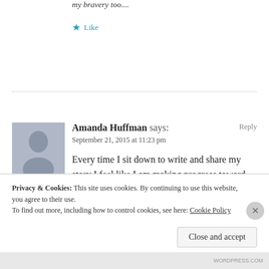my bravery too....
Like
Amanda Huffman says:
Reply
September 21, 2015 at 11:23 pm
Every time I sit down to write and share my story I feel like I am making progress toward
Privacy & Cookies: This site uses cookies. By continuing to use this website, you agree to their use.
To find out more, including how to control cookies, see here: Cookie Policy
Close and accept